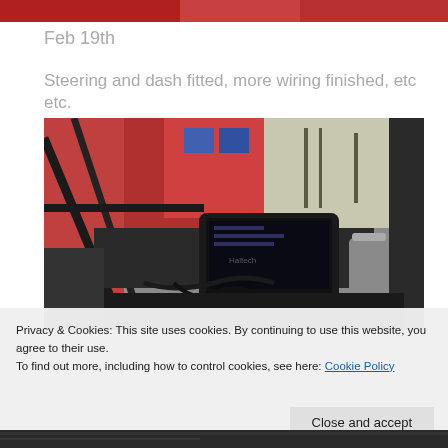[Figure (photo): Partial red-toned image at very top of page — appears to be part of a car or workshop scene]
Feb 19th
Steering and dash fitted, more wiring finished, etc etc.
[Figure (photo): Interior dashboard photo of a racing car with roll cage, steering wheel removed, Haltech digital dash unit installed, wiring harness visible, red bodywork and workshop in background]
Privacy & Cookies: This site uses cookies. By continuing to use this website, you agree to their use.
To find out more, including how to control cookies, see here: Cookie Policy
Close and accept
[Figure (photo): Bottom strip showing dark/black textured material — partial image]